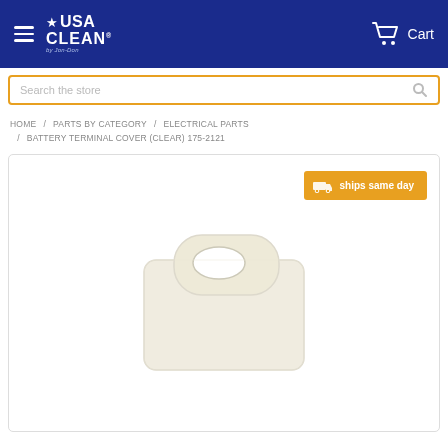USA CLEAN by Jon-Don — Cart
Search the store
HOME / PARTS BY CATEGORY / ELECTRICAL PARTS / BATTERY TERMINAL COVER (CLEAR) 175-2121
[Figure (photo): Product photo of a clear plastic battery terminal cover (part 175-2121), showing a small rounded rectangular translucent cover with an oval cutout, displayed on a white background. An orange 'ships same day' badge with a delivery truck icon appears in the upper right.]